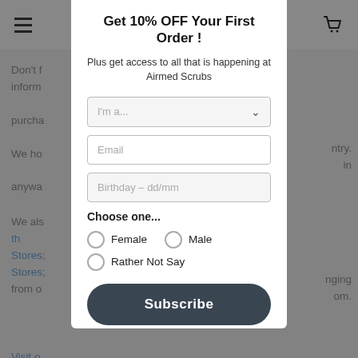Get 10% OFF Your First Order !
Plus get access to all that is happening at Airmed Scrubs
I'm a... (dropdown)
Email (input field)
Birthday – dd/mm (input field)
Choose one...
Female
Male
Rather Not Say
Subscribe